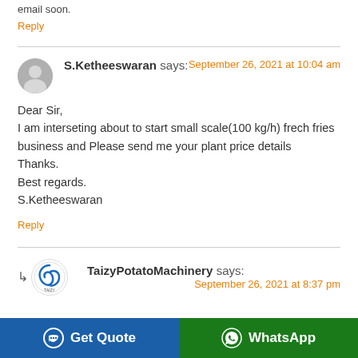email soon.
Reply
S.Ketheeswaran says: September 26, 2021 at 10:04 am
Dear Sir,
I am interseting about to start small scale(100 kg/h) frech fries business and Please send me your plant price details
Thanks.
Best regards.
S.Ketheeswaran
Reply
TaizyPotatoMachinery says: September 26, 2021 at 8:37 pm
Get Quote
WhatsApp